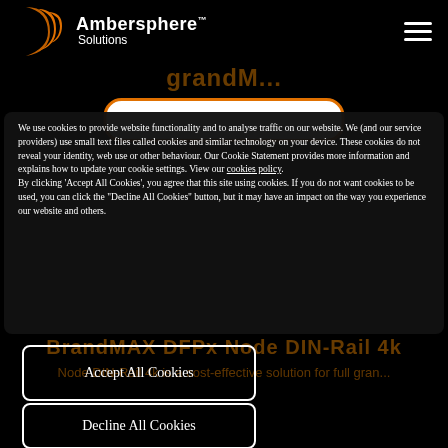Ambersphere Solutions
BrandM...
We use cookies to provide website functionality and to analyse traffic on our website. We (and our service providers) use small text files called cookies and similar technology on your device. These cookies do not reveal your identity, web use or other behaviour. Our Cookie Statement provides more information and explains how to update your cookie settings. View our cookies policy. By clicking 'Accept All Cookies', you agree that this site using cookies. If you do not want cookies to be used, you can click the "Decline All Cookies" button, but it may have an impact on the way you experience our website and others.
Accept All Cookies
Decline All Cookies
BrandMAX DFPx Node DIN-Rail 4k
Node DIN-Rail 4k is a cost-effective solution for full gran...